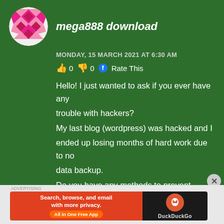mega888 download
MONDAY, 15 MARCH 2021 AT 6:30 AM
👍 0 👎 0 f Rate This
Hello! I just wanted to ask if you ever have any trouble with hackers?
My last blog (wordpress) was hacked and I ended up losing months of hard work due to no data backup.
Do you have any methods to prevent hackers?
My site – mega888 download
[Figure (screenshot): DuckDuckGo advertisement banner: orange left panel with text 'Search, browse, and email with more privacy. All in One Free App' and dark right panel with DuckDuckGo logo]